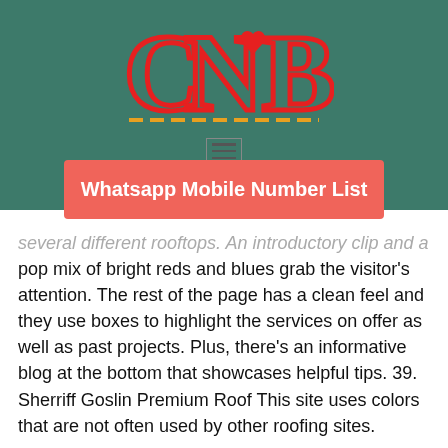[Figure (logo): CNB logo in red with orange dashed underline on teal/green background]
[Figure (other): Hamburger menu icon (three horizontal lines in a box)]
Whatsapp Mobile Number List
several different rooftops. An introductory clip and a pop mix of bright reds and blues grab the visitor's attention. The rest of the page has a clean feel and they use boxes to highlight the services on offer as well as past projects. Plus, there's an informative blog at the bottom that showcases helpful tips. 39. Sherriff Goslin Premium Roof This site uses colors that are not often used by other roofing sites.